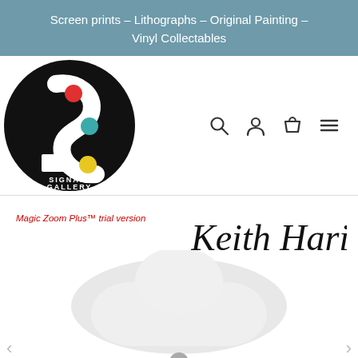Screen prints – Lithographs – Original Painting – Vinyl Collectables
[Figure (logo): Signari Gallery circular logo: black circle with white stylized S-shape, red dot top center, teal dot middle right, yellow dot bottom right, white text 'Signari Gallery' at bottom]
[Figure (other): Navigation icons: search (magnifying glass), user/account (person silhouette), cart (shopping bag), menu (hamburger lines)]
Magic Zoom Plus™ trial version
[Figure (other): Keith Haring handwritten signature in black ink]
[Figure (photo): White vinyl collectible figure/toy partially visible at bottom of page with a small gray circular element]